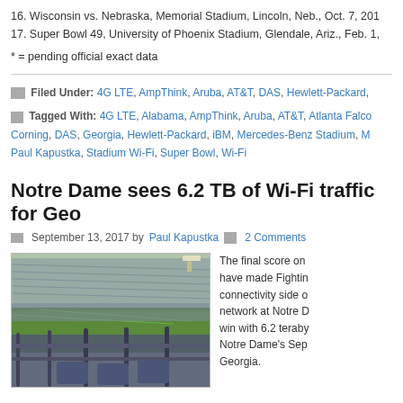16. Wisconsin vs. Nebraska, Memorial Stadium, Lincoln, Neb., Oct. 7, 201
17. Super Bowl 49, University of Phoenix Stadium, Glendale, Ariz., Feb. 1,
* = pending official exact data
Filed Under: 4G LTE, AmpThink, Aruba, AT&T, DAS, Hewlett-Packard,
Tagged With: 4G LTE, Alabama, AmpThink, Aruba, AT&T, Atlanta Falco, Corning, DAS, Georgia, Hewlett-Packard, iBM, Mercedes-Benz Stadium, M, Paul Kapustka, Stadium Wi-Fi, Super Bowl, Wi-Fi
Notre Dame sees 6.2 TB of Wi-Fi traffic for Geo
September 13, 2017 by Paul Kapustka  2 Comments
[Figure (photo): Photo of Notre Dame stadium interior showing seating, field, and railing in foreground]
The final score on have made Fightin connectivity side o network at Notre D win with 6.2 teraby Notre Dame's Sep Georgia.